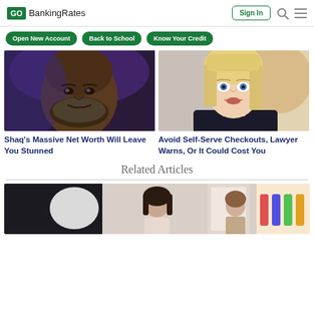GO BankingRates | Sign In
Open New Account
Back to School
Know Your Credit
[Figure (photo): Close-up photo of a large Black man with a beard looking stern, with dark purple/blue lighting.]
[Figure (photo): Close-up photo of a blonde woman with blue eyes, talking, wearing a dark top.]
Shaq's Massive Net Worth Will Leave You Stunned
Avoid Self-Serve Checkouts, Lawyer Warns, Or It Could Cost You
Related Articles
[Figure (photo): Photo showing people in what appears to be a clothing or retail setting.]